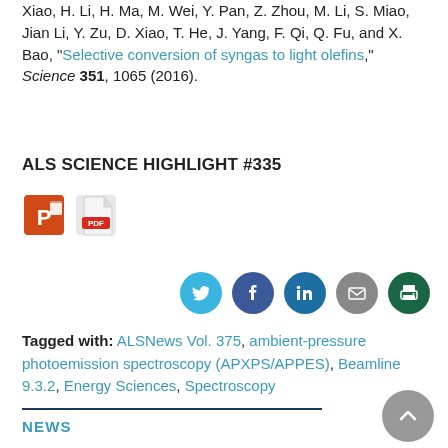Xiao, H. Li, H. Ma, M. Wei, Y. Pan, Z. Zhou, M. Li, S. Miao, Jian Li, Y. Zu, D. Xiao, T. He, J. Yang, F. Qi, Q. Fu, and X. Bao, "Selective conversion of syngas to light olefins," Science 351, 1065 (2016).
ALS SCIENCE HIGHLIGHT #335
[Figure (other): PowerPoint and PDF download icons]
[Figure (other): Social sharing buttons: Twitter, Facebook, LinkedIn, Email, Print]
Tagged with: ALSNews Vol. 375, ambient-pressure photoemission spectroscopy (APXPS/APPES), Beamline 9.3.2, Energy Sciences, Spectroscopy
NEWS